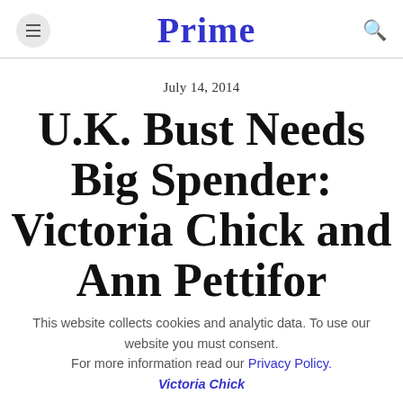Prime
July 14, 2014
U.K. Bust Needs Big Spender: Victoria Chick and Ann Pettifor
This website collects cookies and analytic data. To use our website you must consent. For more information read our Privacy Policy.
Victoria Chick